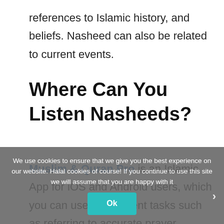references to Islamic history, and beliefs. Nasheed can also be related to current events.
Where Can You Listen Nasheeds?
Muslim & Quran Pro is an Islamic App for iOS and Android users, which you can use for different tasks such as referring to accurate prayer timings, locations of mosques and halal food places in foreign countries. This app also includes a plethora of Anasheed and other Qurani Duain, Ayats and Ahadith available for the Muslim umma.
We use cookies to ensure that we give you the best experience on our website. Halal cookies of course! If you continue to use this site we will assume that you are happy with it